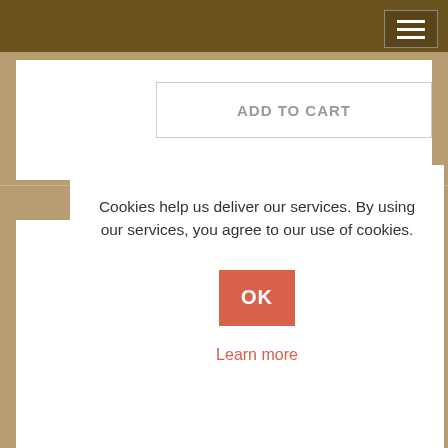[Figure (screenshot): E-commerce website screenshot showing product page with tan/brown background, hamburger menu, two ADD TO CART buttons, and a cookie consent dialog overlay with OK button and Learn more link. Bottom shows KOHL AND TERRACOTA product title.]
ADD TO CART
Cookies help us deliver our services. By using our services, you agree to our use of cookies.
OK
Learn more
ADD TO CART
KOHL AND TERRACOTA